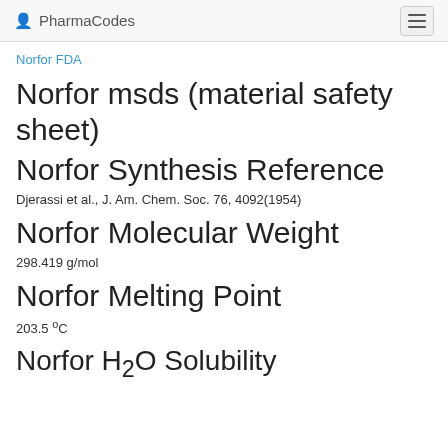PharmacyCodes
Norfor FDA
Norfor msds (material safety sheet)
Norfor Synthesis Reference
Djerassi et al., J. Am. Chem. Soc. 76, 4092(1954)
Norfor Molecular Weight
298.419 g/mol
Norfor Melting Point
203.5 °C
Norfor H₂O Solubility